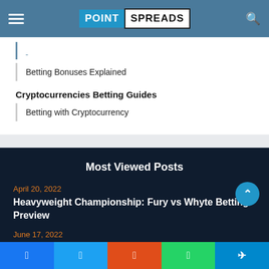POINT SPREADS
[truncated link text]
Betting Bonuses Explained
Cryptocurrencies Betting Guides
Betting with Cryptocurrency
Most Viewed Posts
April 20, 2022
Heavyweight Championship: Fury vs Whyte Betting Preview
June 17, 2022